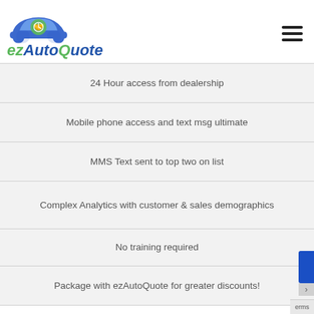[Figure (logo): ezAutoQuote logo with green and blue car/handshake graphic and stylized text]
24 Hour access from dealership
Mobile phone access and text msg ultimate
MMS Text sent to top two on list
Complex Analytics with customer & sales demographics
No training required
Package with ezAutoQuote for greater discounts!